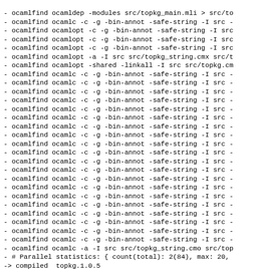- ocamlfind ocamldep -modules src/topkg_main.mli > src/to
- ocamlfind ocamlc -c -g -bin-annot -safe-string -I src -
- ocamlfind ocamlopt -c -g -bin-annot -safe-string -I src
- ocamlfind ocamlopt -c -g -bin-annot -safe-string -I src
- ocamlfind ocamlopt -c -g -bin-annot -safe-string -I src
- ocamlfind ocamlopt -a -I src src/topkg_string.cmx src/t
- ocamlfind ocamlopt -shared -linkall -I src src/topkg.cm
- ocamlfind ocamlc -c -g -bin-annot -safe-string -I src -
- ocamlfind ocamlc -c -g -bin-annot -safe-string -I src -
- ocamlfind ocamlc -c -g -bin-annot -safe-string -I src -
- ocamlfind ocamlc -c -g -bin-annot -safe-string -I src -
- ocamlfind ocamlc -c -g -bin-annot -safe-string -I src -
- ocamlfind ocamlc -c -g -bin-annot -safe-string -I src -
- ocamlfind ocamlc -c -g -bin-annot -safe-string -I src -
- ocamlfind ocamlc -c -g -bin-annot -safe-string -I src -
- ocamlfind ocamlc -c -g -bin-annot -safe-string -I src -
- ocamlfind ocamlc -c -g -bin-annot -safe-string -I src -
- ocamlfind ocamlc -c -g -bin-annot -safe-string -I src -
- ocamlfind ocamlc -c -g -bin-annot -safe-string -I src -
- ocamlfind ocamlc -c -g -bin-annot -safe-string -I src -
- ocamlfind ocamlc -c -g -bin-annot -safe-string -I src -
- ocamlfind ocamlc -c -g -bin-annot -safe-string -I src -
- ocamlfind ocamlc -c -g -bin-annot -safe-string -I src -
- ocamlfind ocamlc -c -g -bin-annot -safe-string -I src -
- ocamlfind ocamlc -c -g -bin-annot -safe-string -I src -
- ocamlfind ocamlc -c -g -bin-annot -safe-string -I src -
- ocamlfind ocamlc -c -g -bin-annot -safe-string -I src -
- ocamlfind ocamlc -a -I src src/topkg_string.cmo src/top
- # Parallel statistics: { count(total): 2(84), max: 20,
-> compiled  topkg.1.0.5